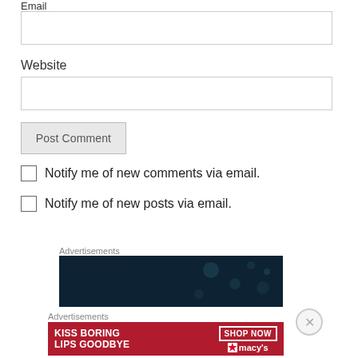Email
[Figure (screenshot): Email input text field, empty]
Website
[Figure (screenshot): Website input text field, empty]
[Figure (screenshot): Post Comment button]
Notify me of new comments via email.
Notify me of new posts via email.
Advertisements
[Figure (photo): Dark blue advertisement banner with bokeh light circles]
Advertisements
[Figure (photo): Macy's advertisement: KISS BORING LIPS GOODBYE with SHOP NOW button and Macy's star logo]
[Figure (other): Close/X button circle in bottom right]